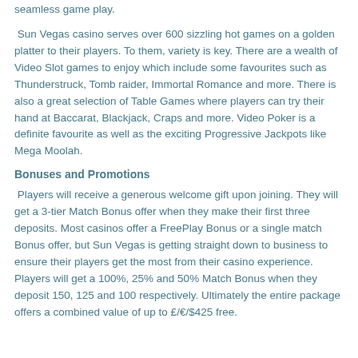seamless game play.
Sun Vegas casino serves over 600 sizzling hot games on a golden platter to their players. To them, variety is key. There are a wealth of Video Slot games to enjoy which include some favourites such as Thunderstruck, Tomb raider, Immortal Romance and more. There is also a great selection of Table Games where players can try their hand at Baccarat, Blackjack, Craps and more. Video Poker is a definite favourite as well as the exciting Progressive Jackpots like Mega Moolah.
Bonuses and Promotions
Players will receive a generous welcome gift upon joining. They will get a 3-tier Match Bonus offer when they make their first three deposits. Most casinos offer a FreePlay Bonus or a single match Bonus offer, but Sun Vegas is getting straight down to business to ensure their players get the most from their casino experience. Players will get a 100%, 25% and 50% Match Bonus when they deposit 150, 125 and 100 respectively. Ultimately the entire package offers a combined value of up to £/€/$425 free.